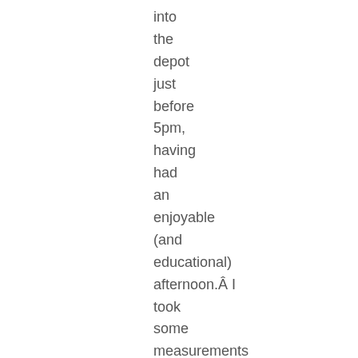into the depot just before 5pm, having had an enjoyable (and educational) afternoon.Â I took some measurements and promised to make pajamas for everyone,